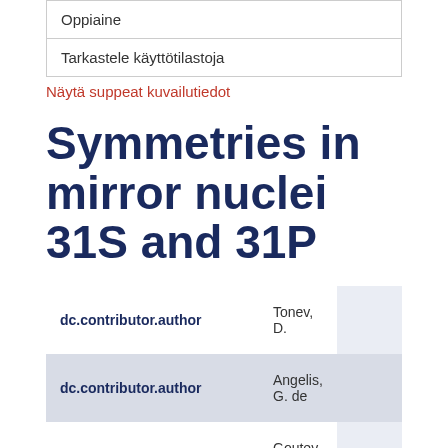Oppiaine
Tarkastele käyttötilastoja
Näytä suppeat kuvailutiedot
Symmetries in mirror nuclei 31S and 31P
|  |  |  |
| --- | --- | --- |
| dc.contributor.author | Tonev, D. |  |
| dc.contributor.author | Angelis, G. de |  |
| dc.contributor.author | Goutev, N. |  |
|  |  |  |